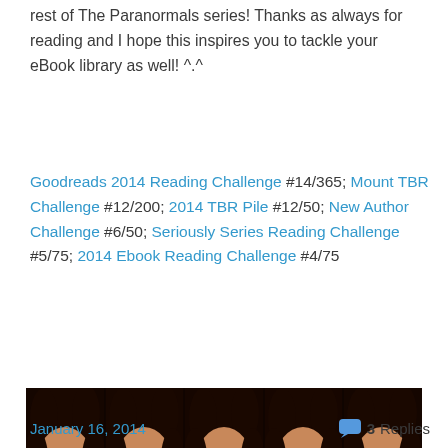rest of The Paranormals series! Thanks as always for reading and I hope this inspires you to tackle your eBook library as well! ^.^
Goodreads 2014 Reading Challenge #14/365; Mount TBR Challenge #12/200; 2014 TBR Pile #12/50; New Author Challenge #6/50; Seriously Series Reading Challenge #5/75; 2014 Ebook Reading Challenge #4/75
[Figure (photo): A collage of five identical photos of the actor Elijah Wood (as Frodo from Lord of the Rings) smiling, arranged side by side, with a caption bar below reading 'Five Smiling Frodos' in italic serif font.]
January 16, 2014   3 Replies